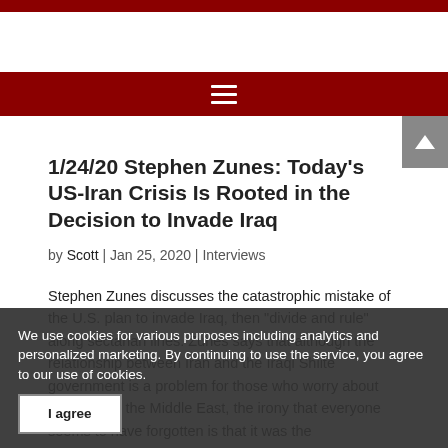1/24/20 Stephen Zunes: Today's US-Iran Crisis Is Rooted in the Decision to Invade Iraq
by Scott | Jan 25, 2020 | Interviews
Stephen Zunes discusses the catastrophic mistake of the U.S. plan to invade Iraq, then "divide and rule" along sectarian lines. Zunes says that although the relationship between Iran and the Iraqi Shiite government is a problem for those who worry about influence in the Middle East, the irony that everyone seems to have forgotten is that it was the
We use cookies for various purposes including analytics and personalized marketing. By continuing to use the service, you agree to our use of cookies.
I agree